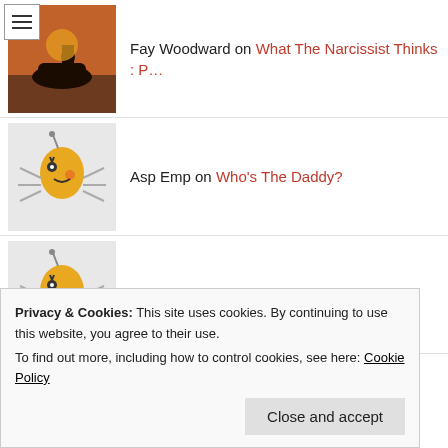Fay Woodward on What The Narcissist Thinks : P…
Asp Emp on Who's The Daddy?
Asp Emp on Who's The Daddy?
Asp Emp on If You Go Into the Woods
Asp Emp on A Madman's Diary
Heebee-jeebees on A Madman´s Diary
Privacy & Cookies: This site uses cookies. By continuing to use this website, you agree to their use.
To find out more, including how to control cookies, see here: Cookie Policy
Close and accept